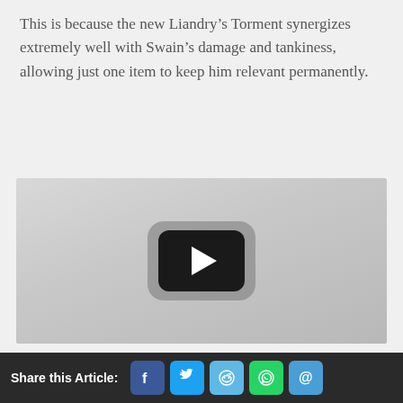This is because the new Liandry’s Torment synergizes extremely well with Swain’s damage and tankiness, allowing just one item to keep him relevant permanently.
[Figure (screenshot): YouTube video embed thumbnail showing a play button on a gray background]
Share this Article: [Facebook] [Twitter] [Reddit] [WhatsApp] [Email]